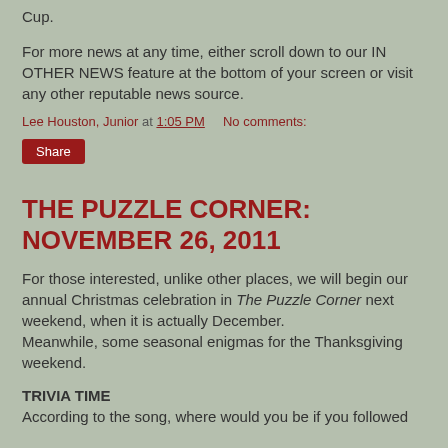Cup.
For more news at any time, either scroll down to our IN OTHER NEWS feature at the bottom of your screen or visit any other reputable news source.
Lee Houston, Junior at 1:05 PM    No comments:
Share
THE PUZZLE CORNER: NOVEMBER 26, 2011
For those interested, unlike other places, we will begin our annual Christmas celebration in The Puzzle Corner next weekend, when it is actually December.
Meanwhile, some seasonal enigmas for the Thanksgiving weekend.
TRIVIA TIME
According to the song, where would you be if you followed